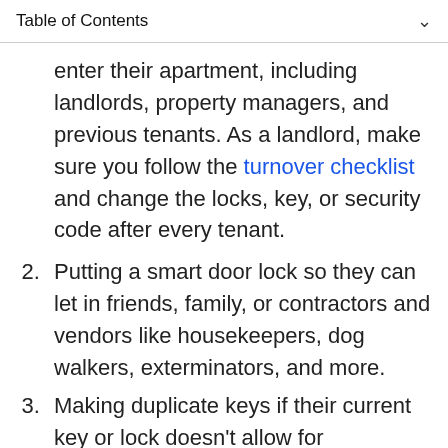Table of Contents
enter their apartment, including landlords, property managers, and previous tenants. As a landlord, make sure you follow the turnover checklist and change the locks, key, or security code after every tenant.
2. Putting a smart door lock so they can let in friends, family, or contractors and vendors like housekeepers, dog walkers, exterminators, and more.
3. Making duplicate keys if their current key or lock doesn't allow for